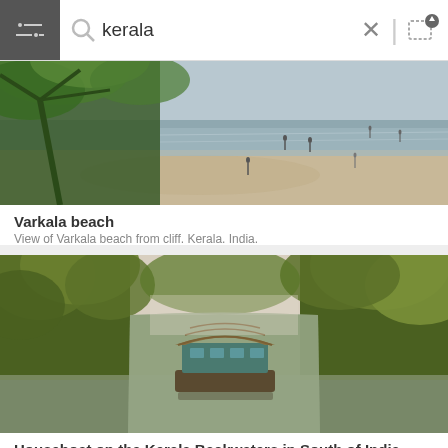kerala
[Figure (photo): View of Varkala beach from cliff showing sandy shore, tropical trees in foreground, and people on the beach with ocean in background. Kerala, India.]
Varkala beach
View of Varkala beach from cliff. Kerala. India.
[Figure (photo): Houseboat on the Kerala Backwaters surrounded by lush tropical palm trees and jungle, reflecting calm water. South of India.]
Houseboat on the Kerala Backwaters in South of India
Houseboat on the Kerala Backwaters in South of India.